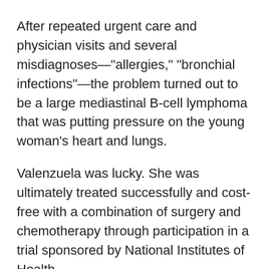After repeated urgent care and physician visits and several misdiagnoses—"allergies," "bronchial infections"—the problem turned out to be a large mediastinal B-cell lymphoma that was putting pressure on the young woman's heart and lungs.
Valenzuela was lucky. She was ultimately treated successfully and cost-free with a combination of surgery and chemotherapy through participation in a trial sponsored by National Institutes of Health.
At this time last year, however, a positive outcome was anything but certain.
When Valenzuela's agency, AuPairCare, was notified of her illness, they abruptly terminated her contract. Rather than assisting her in acquiring an extension on her original J-1 visa which would allow her to remain with the Hansons and